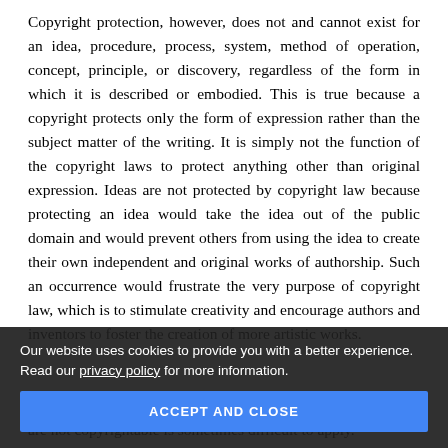Copyright protection, however, does not and cannot exist for an idea, procedure, process, system, method of operation, concept, principle, or discovery, regardless of the form in which it is described or embodied. This is true because a copyright protects only the form of expression rather than the subject matter of the writing. It is simply not the function of the copyright laws to protect anything other than original expression. Ideas are not protected by copyright law because protecting an idea would take the idea out of the public domain and would prevent others from using the idea to create their own independent and original works of authorship. Such an occurrence would frustrate the very purpose of copyright law, which is to stimulate creativity and encourage authors and inventors to foster the creation of more artistic works.
Our website uses cookies to provide you with a better experience. Read our privacy policy for more information.
ACCEPT AND CLOSE
are not copyrightable is sometimes difficult to apply.